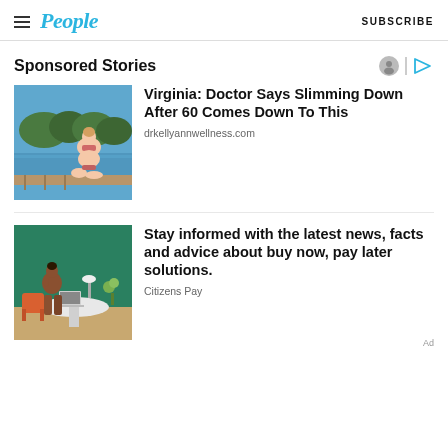People — SUBSCRIBE
Sponsored Stories
[Figure (photo): Woman in bikini sitting on dock by lake]
Virginia: Doctor Says Slimming Down After 60 Comes Down To This
drkellyannwellness.com
[Figure (photo): Woman sitting at table with laptop in green room]
Stay informed with the latest news, facts and advice about buy now, pay later solutions.
Citizens Pay
Ad